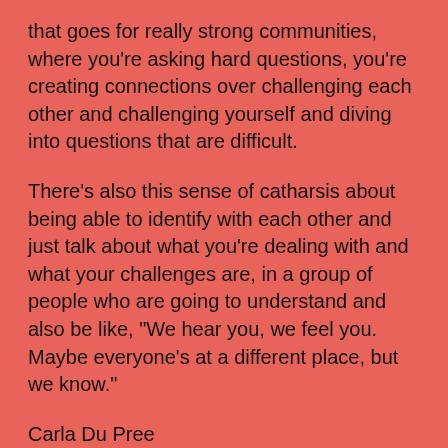that goes for really strong communities, where you're asking hard questions, you're creating connections over challenging each other and challenging yourself and diving into questions that are difficult.
There's also this sense of catharsis about being able to identify with each other and just talk about what you're dealing with and what your challenges are, in a group of people who are going to understand and also be like, "We hear you, we feel you. Maybe everyone's at a different place, but we know."
Carla Du Pree
Thank you for saying that, Elizabeth, because I think part of it is that you look at the title of our retreat, and we want people to understand that motherhood is